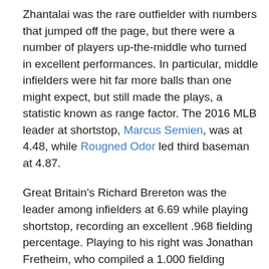Zhantalai was the rare outfielder with numbers that jumped off the page, but there were a number of players up-the-middle who turned in excellent performances. In particular, middle infielders were hit far more balls than one might expect, but still made the plays, a statistic known as range factor. The 2016 MLB leader at shortstop, Marcus Semien, was at 4.48, while Rougned Odor led third baseman at 4.87.
Great Britain's Richard Brereton was the leader among infielders at 6.69 while playing shortstop, recording an excellent .968 fielding percentage. Playing to his right was Jonathan Fretheim, who compiled a 1.000 fielding success rate. GB's Miguel Rodríguez pulled his best Jiménez impression, tossing out two Polish runners in a game that Britain would have otherwise lost.